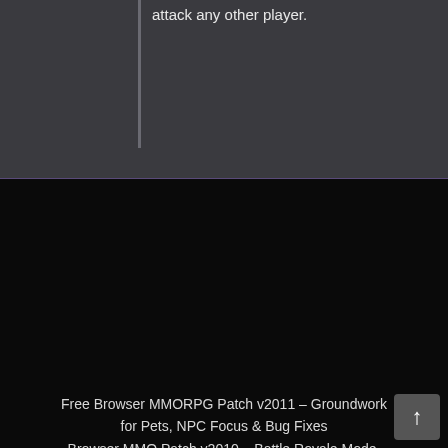attack any other player.
Free Browser MMORPG Patch v2011 – Groundwork for Pets, NPC Focus & Bug Fixes
Browser MMO Patch v2010 – Battle Royale Mode, Bug Fixes & Guild Enhancements
Free Online RPG Patch v2009 – Rebirth, Video Embed & Custom Sprite Hue
Online Browser MMO Patch v2008 – Disco Game Chat Integration & Patreon Feature
Browser MMORPG Major Patch v2007 – NPC vs